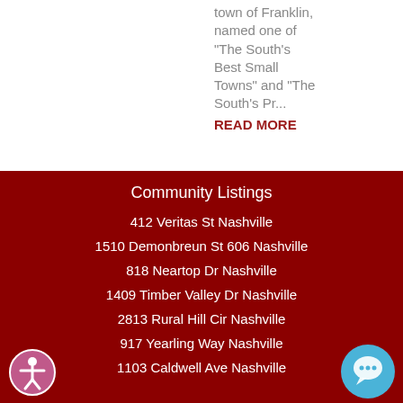town of Franklin, named one of "The South's Best Small Towns" and "The South's Pr...
READ MORE
Community Listings
412 Veritas St Nashville
1510 Demonbreun St 606 Nashville
818 Neartop Dr Nashville
1409 Timber Valley Dr Nashville
2813 Rural Hill Cir Nashville
917 Yearling Way Nashville
1103 Caldwell Ave Nashville